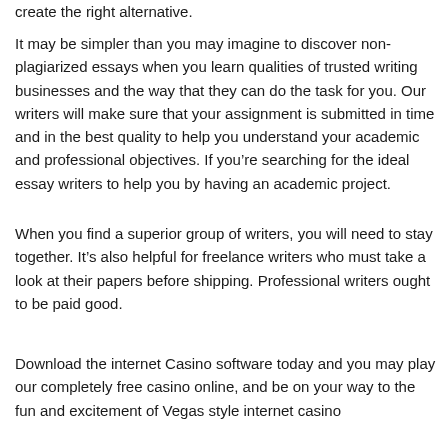create the right alternative.
It may be simpler than you may imagine to discover non-plagiarized essays when you learn qualities of trusted writing businesses and the way that they can do the task for you. Our writers will make sure that your assignment is submitted in time and in the best quality to help you understand your academic and professional objectives. If you're searching for the ideal essay writers to help you by having an academic project.
When you find a superior group of writers, you will need to stay together. It's also helpful for freelance writers who must take a look at their papers before shipping. Professional writers ought to be paid good.
Download the internet Casino software today and you may play our completely free casino online, and be on your way to the fun and excitement of Vegas style internet casino